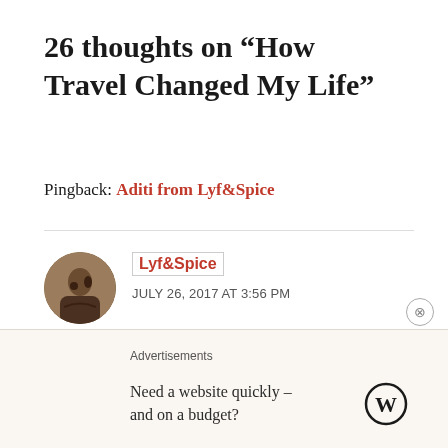26 thoughts on “How Travel Changed My Life”
Pingback: Aditi from Lyf&Spice
Lyf&Spice
JULY 26, 2017 AT 3:56 PM
True, everyone travels for their own reason(s). Thank you...
Advertisements
Need a website quickly – and on a budget?